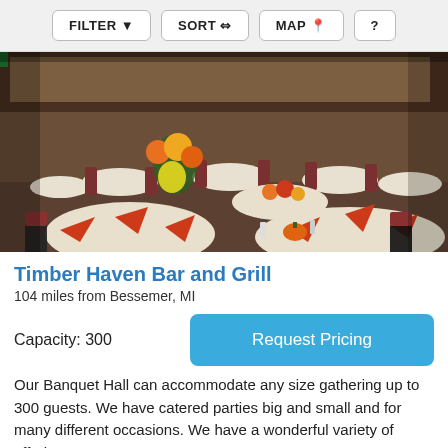FILTER  SORT  MAP  ?
[Figure (photo): Interior of a banquet hall with round tables covered in white tablecloths, dark red chairs, and orange/red folded napkins as centerpieces. Floral arrangements with yellow and orange flowers are on the tables. The room is large and well-lit.]
Timber Haven Bar and Grill
104 miles from Bessemer, MI
Capacity: 300
Request Pricing
Our Banquet Hall can accommodate any size gathering up to 300 guests. We have catered parties big and small and for many different occasions. We have a wonderful variety of offerings